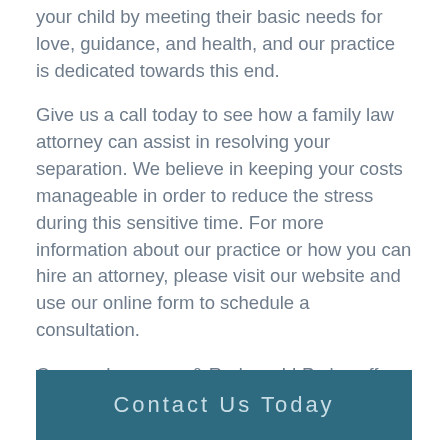your child by meeting their basic needs for love, guidance, and health, and our practice is dedicated towards this end.
Give us a call today to see how a family law attorney can assist in resolving your separation. We believe in keeping your costs manageable in order to reduce the stress during this sensitive time. For more information about our practice or how you can hire an attorney, please visit our website and use our online form to schedule a consultation.
Conner, Lawrence & Rodney, LLP also offers services in wills and trusts, estate planning, prenuptial agreements and more.
Contact Us Today